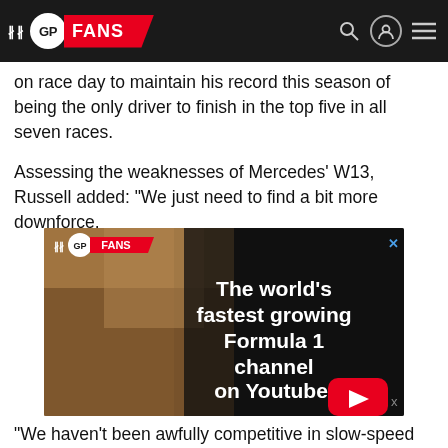GP FANS
on race day to maintain his record this season of being the only driver to finish in the top five in all seven races.
Assessing the weaknesses of Mercedes' W13, Russell added: "We just need to find a bit more downforce.
[Figure (other): GP Fans advertisement banner showing a Formula 1 driver (Lewis Hamilton) celebrating with a Union Jack flag, with text overlay reading 'The world's fastest growing Formula 1 channel on Youtube.' with a YouTube play button.]
"We haven't been awfully competitive in slow-speed corners.